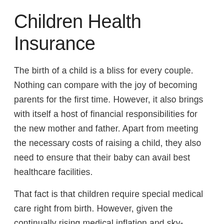Children Health Insurance
The birth of a child is a bliss for every couple. Nothing can compare with the joy of becoming parents for the first time. However, it also brings with itself a host of financial responsibilities for the new mother and father. Apart from meeting the necessary costs of raising a child, they also need to ensure that their baby can avail best healthcare facilities.
That fact is that children require special medical care right from birth. However, given the continually rising medical inflation and sky-rocketing healthcare costs in our country, it's prudent for every parent to invest in a child health insurance policy.